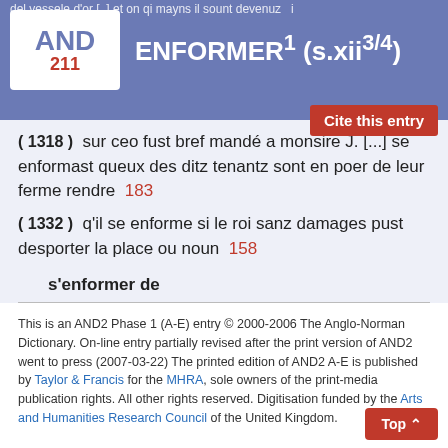del vessel e d'or [...] et on qi mayns il sount devenuz i
ENFORMER¹ (s.xii³⁄⁴)
(1318) sur ceo fust bref mandé a monsire J. [...] se enformast queux des ditz tenantz sont en poer de leur ferme rendre  183
(1332) q'il se enforme si le roi sanz damages pust desporter la place ou noun  158
s'enformer de
to learn how to:
(c.1270; MS: s.xiii⁴/⁴)  [...] Dunt il s'en puisse bien enformer D'amer Deu especiaument  30
This is an AND2 Phase 1 (A-E) entry © 2000-2006 The Anglo-Norman Dictionary. On-line entry partially revised after the print version of AND2 went to press (2007-03-22) The printed edition of AND2 A-E is published by Taylor & Francis for the MHRA, sole owners of the print-media publication rights. All other rights reserved. Digitisation funded by the Arts and Humanities Research Council of the United Kingdom.